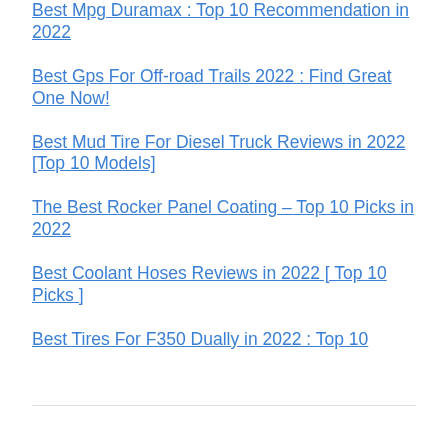Best Mpg Duramax : Top 10 Recommendation in 2022
Best Gps For Off-road Trails 2022 : Find Great One Now!
Best Mud Tire For Diesel Truck Reviews in 2022 [Top 10 Models]
The Best Rocker Panel Coating – Top 10 Picks in 2022
Best Coolant Hoses Reviews in 2022 [ Top 10 Picks ]
Best Tires For F350 Dually in 2022 : Top 10